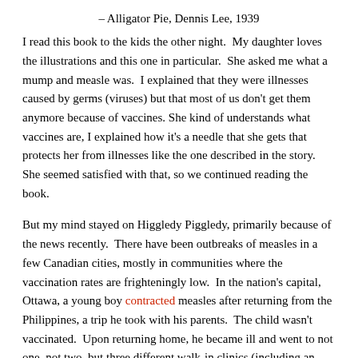– Alligator Pie, Dennis Lee, 1939
I read this book to the kids the other night.  My daughter loves the illustrations and this one in particular.  She asked me what a mump and measle was.  I explained that they were illnesses caused by germs (viruses) but that most of us don't get them anymore because of vaccines. She kind of understands what vaccines are, I explained how it's a needle that she gets that protects her from illnesses like the one described in the story.  She seemed satisfied with that, so we continued reading the book.
But my mind stayed on Higgledy Piggledy, primarily because of the news recently.  There have been outbreaks of measles in a few Canadian cities, mostly in communities where the vaccination rates are frighteningly low.  In the nation's capital, Ottawa, a young boy contracted measles after returning from the Philippines, a trip he took with his parents.  The child wasn't vaccinated.  Upon returning home, he became ill and went to not one, not two, but three different walk-in clinics (including an emergency room)